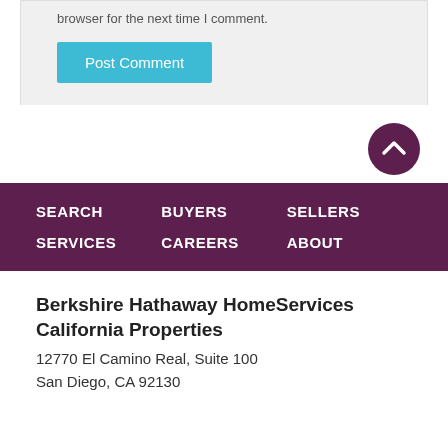browser for the next time I comment.
Post Comment
[Figure (other): Scroll-up circular button with chevron icon, dark purple background]
SEARCH
BUYERS
SELLERS
SERVICES
CAREERS
ABOUT
Berkshire Hathaway HomeServices California Properties
12770 El Camino Real, Suite 100
San Diego, CA 92130